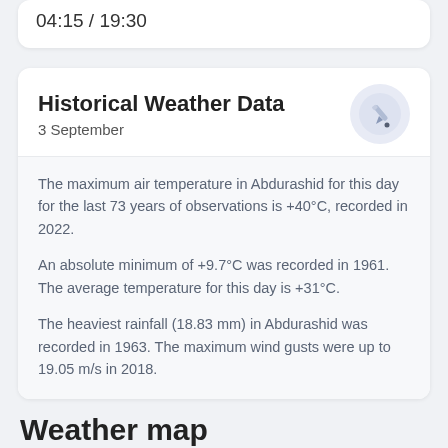04:15 / 19:30
Historical Weather Data
3 September
[Figure (illustration): Circular icon with a pencil/pen illustration on a light blue-grey background]
The maximum air temperature in Abdurashid for this day for the last 73 years of observations is +40°C, recorded in 2022.
An absolute minimum of +9.7°C was recorded in 1961. The average temperature for this day is +31°C.
The heaviest rainfall (18.83 mm) in Abdurashid was recorded in 1963. The maximum wind gusts were up to 19.05 m/s in 2018.
Weather map